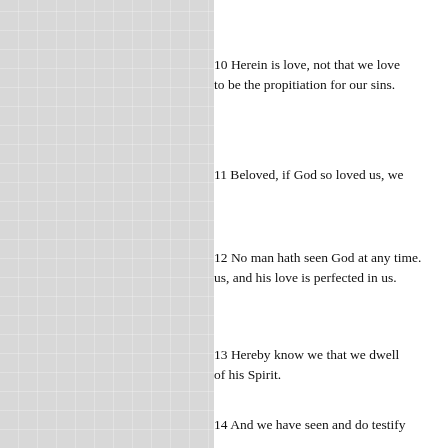10 Herein is love, not that we loved God, but that he loved us, and sent his Son to be the propitiation for our sins.
11 Beloved, if God so loved us, we ought also to love one another.
12 No man hath seen God at any time. If we love one another, God dwelleth in us, and his love is perfected in us.
13 Hereby know we that we dwell in him, and he in us, because he hath given us of his Spirit.
14 And we have seen and do testify that the Father sent the Son to be the Saviour of the world.